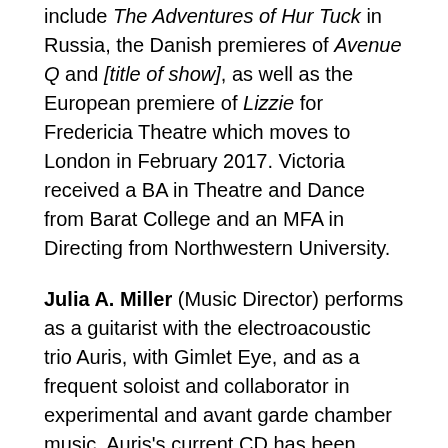include The Adventures of Hur Tuck in Russia, the Danish premieres of Avenue Q and [title of show], as well as the European premiere of Lizzie for Fredericia Theatre which moves to London in February 2017. Victoria received a BA in Theatre and Dance from Barat College and an MFA in Directing from Northwestern University.
Julia A. Miller (Music Director) performs as a guitarist with the electroacoustic trio Auris, with Gimlet Eye, and as a frequent soloist and collaborator in experimental and avant garde chamber music. Auris's current CD has been released on Artco Records (2009). Julia completed the performance half of a double Master of Music in Classical Guitar Performance at Northwestern University, and served as the Jazz, Folk and Contemporary Guitar Department Chair at the Music Institute of Chicago, where she was also a Suzuki Guitar specialist. As a composer, Julia is active with the